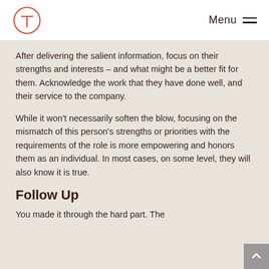Menu
After delivering the salient information, focus on their strengths and interests – and what might be a better fit for them. Acknowledge the work that they have done well, and their service to the company.
While it won't necessarily soften the blow, focusing on the mismatch of this person's strengths or priorities with the requirements of the role is more empowering and honors them as an individual. In most cases, on some level, they will also know it is true.
Follow Up
You made it through the hard part. The